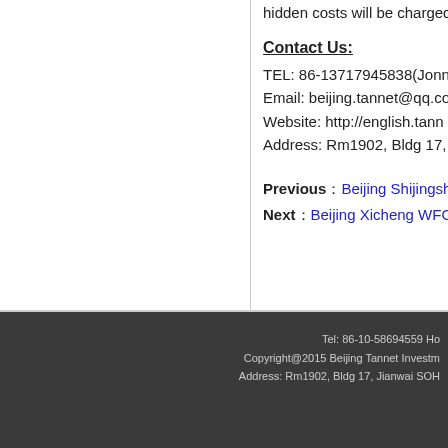hidden costs will be charged.
Contact Us:
TEL: 86-13717945838(Jonn
Email: beijing.tannet@qq.co
Website: http://english.tann
Address: Rm1902, Bldg 17,
Previous：Beijing Shijingshan W
Next：Beijing Xicheng WFOE Se
Tel: 86-10-58694559 Ho
Copyright@2015 Beijing Tannet Investm
Address: Rm1902, Bldg 17, Jianwai SOH